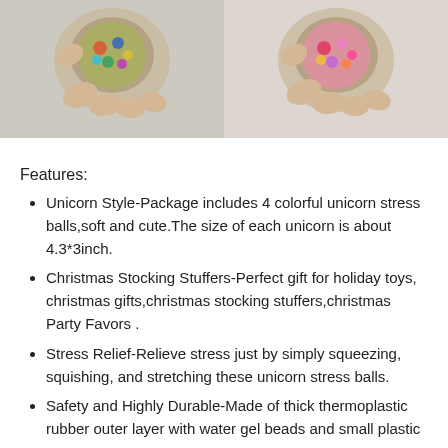[Figure (photo): Two hands squeezing colorful bead-filled stress balls, left ball is multicolor, right ball is pink/colorful]
Features:
Unicorn Style-Package includes 4 colorful unicorn stress balls,soft and cute.The size of each unicorn is about 4.3*3inch.
Christmas Stocking Stuffers-Perfect gift for holiday toys, christmas gifts,christmas stocking stuffers,christmas Party Favors .
Stress Relief-Relieve stress just by simply squeezing, squishing, and stretching these unicorn stress balls.
Safety and Highly Durable-Made of thick thermoplastic rubber outer layer with water gel beads and small plastic